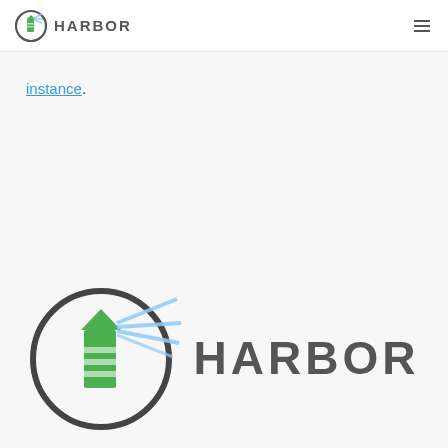HARBOR
instance.
[Figure (logo): Harbor logo — large version with lighthouse icon in circular frame and HARBOR text in gray]